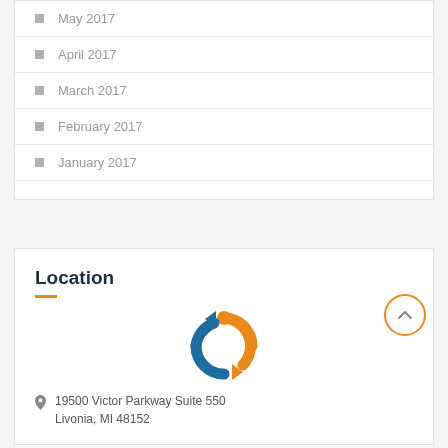May 2017
April 2017
March 2017
February 2017
January 2017
Location
[Figure (logo): Circular arrows logo in orange and blue]
19500 Victor Parkway Suite 550 Livonia, MI 48152